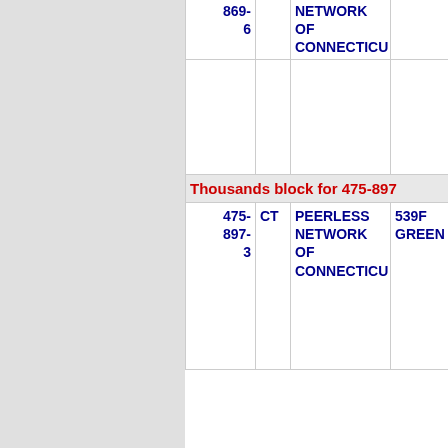| Number | State | Name | Code |
| --- | --- | --- | --- |
| 669-6 |  | NETWORK OF CONNECTICU |  |
|  |  |  |  |
| Thousands block for 475-897 |  |  |  |
| 475-897-3 | CT | PEERLESS NETWORK OF CONNECTICU | 539F GREEN |